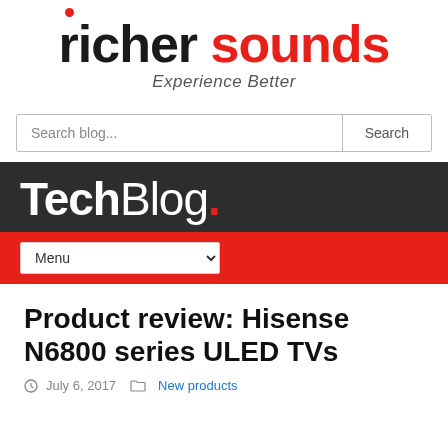[Figure (logo): Richer Sounds logo with red dot above 'r', 'richer' in black bold and 'sounds' in red bold, with tagline 'Experience Better' below]
Search blog...
Product review: Hisense N6800 series ULED TVs
July 6, 2017   New products